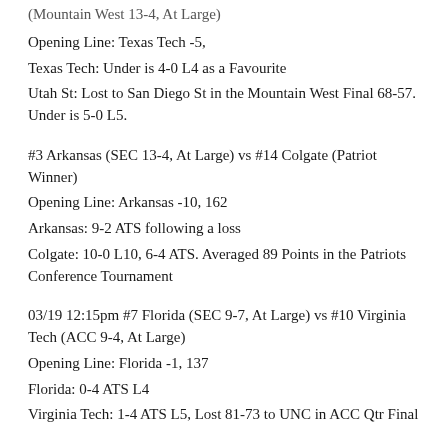(Mountain West 13-4, At Large)
Opening Line: Texas Tech -5,
Texas Tech: Under is 4-0 L4 as a Favourite
Utah St: Lost to San Diego St in the Mountain West Final 68-57. Under is 5-0 L5.
#3 Arkansas (SEC 13-4, At Large) vs #14 Colgate (Patriot Winner)
Opening Line: Arkansas -10, 162
Arkansas: 9-2 ATS following a loss
Colgate: 10-0 L10, 6-4 ATS. Averaged 89 Points in the Patriots Conference Tournament
03/19 12:15pm #7 Florida (SEC 9-7, At Large) vs #10 Virginia Tech (ACC 9-4, At Large)
Opening Line: Florida -1, 137
Florida: 0-4 ATS L4
Virginia Tech: 1-4 ATS L5, Lost 81-73 to UNC in ACC Qtr Final
#3 Ohio St (Big 10 ...